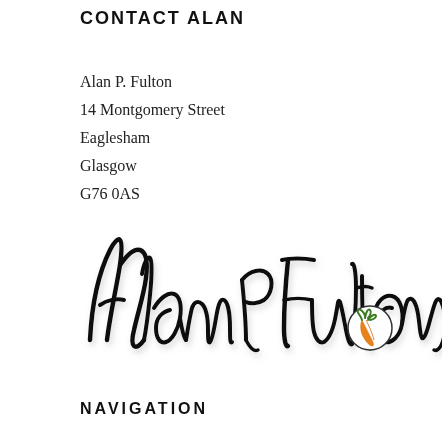CONTACT ALAN
Alan P. Fulton
14 Montgomery Street
Eaglesham
Glasgow
G76 0AS
[Figure (illustration): Handwritten cursive signature reading 'Alan P Fulton' in large flowing black script, with a small circular logo showing an orange carrot near the bottom right of the signature.]
NAVIGATION